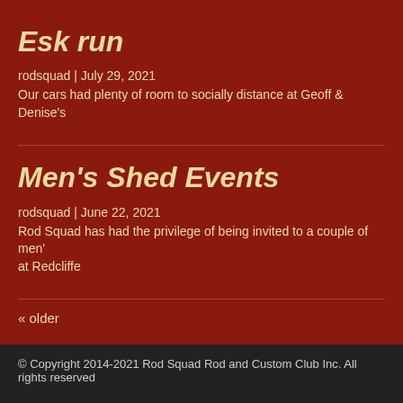Esk run
rodsquad | July 29, 2021
Our cars had plenty of room to socially distance at Geoff & Denise's
Men's Shed Events
rodsquad | June 22, 2021
Rod Squad has had the privilege of being invited to a couple of men's at Redcliffe
« older
© Copyright 2014-2021 Rod Squad Rod and Custom Club Inc. All rights reserved